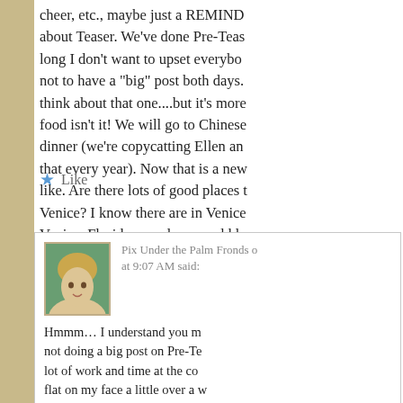cheer, etc., maybe just a REMIND about Teaser. We've done Pre-Teas long I don't want to upset everybo not to have a "big" post both days. think about that one....but it's more food isn't it! We will go to Chinese dinner (we're copycatting Ellen an that every year). Now that is a new like. Are there lots of good places t Venice? I know there are in Venice Venice, Floridaaaaaadeeeeeeeddd
★ Like
[Figure (photo): Small avatar photo of a person with blonde hair outdoors with green background]
Pix Under the Palm Fronds o at 9:07 AM said:
Hmmm… I understand you m not doing a big post on Pre-Te lot of work and time at the co flat on my face a little over a w foot caught in the cord for my couldn't let me rinse a dw...